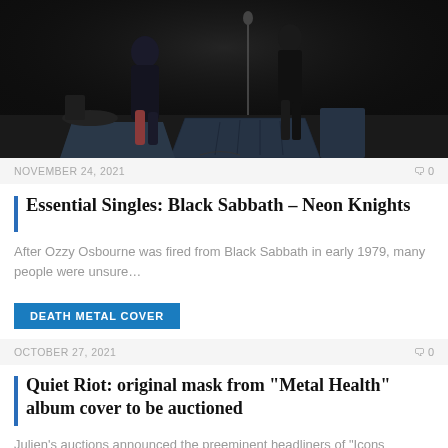[Figure (photo): Dark concert stage photo showing performers silhouetted with stage monitor speakers in foreground]
NOVEMBER 24, 2021   0
Essential Singles: Black Sabbath – Neon Knights
After Ozzy Osbourne was fired from Black Sabbath in early 1979, many people were unsure…
DEATH METAL COVER
OCTOBER 27, 2021   0
Quiet Riot: original mask from "Metal Health" album cover to be auctioned
Julien's auctions announced the preeminent headliners of "Icons